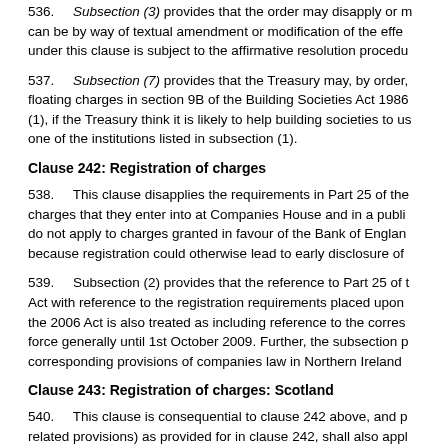536.    Subsection (3) provides that the order may disapply or modify, can be by way of textual amendment or modification of the effect. under this clause is subject to the affirmative resolution procedure.
537.    Subsection (7) provides that the Treasury may, by order, floating charges in section 9B of the Building Societies Act 1986 (1), if the Treasury think it is likely to help building societies to use one of the institutions listed in subsection (1).
Clause 242: Registration of charges
538.    This clause disapplies the requirements in Part 25 of the charges that they enter into at Companies House and in a public do not apply to charges granted in favour of the Bank of England because registration could otherwise lead to early disclosure of
539.    Subsection (2) provides that the reference to Part 25 of the Act with reference to the registration requirements placed upon the 2006 Act is also treated as including reference to the corresponding provisions of companies law in Northern Ireland. force generally until 1st October 2009. Further, the subsection provides corresponding provisions of companies law in Northern Ireland.
Clause 243: Registration of charges: Scotland
540.    This clause is consequential to clause 242 above, and related provisions) as provided for in clause 242, shall also apply Act) which introduces a registration scheme for Scottish floating 2007 Act, where these provisions would restrict the efficacy of Companies Act 2006 is disapplied.